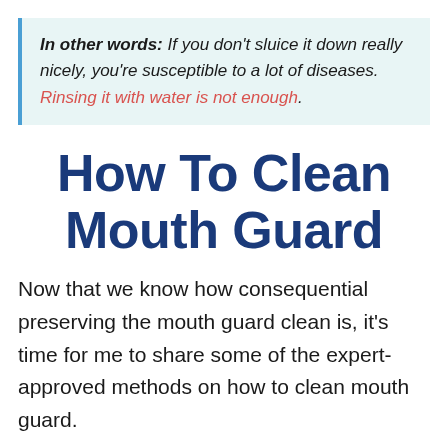In other words: If you don't sluice it down really nicely, you're susceptible to a lot of diseases. Rinsing it with water is not enough.
How To Clean Mouth Guard
Now that we know how consequential preserving the mouth guard clean is, it's time for me to share some of the expert-approved methods on how to clean mouth guard.
Here they are: